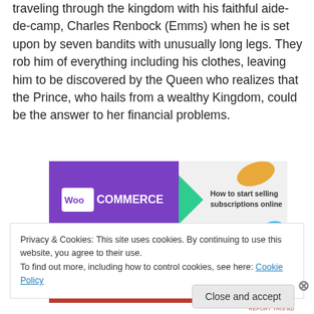traveling through the kingdom with his faithful aide-de-camp, Charles Renbock (Emms) when he is set upon by seven bandits with unusually long legs. They rob him of everything including his clothes, leaving him to be discovered by the Queen who realizes that the Prince, who hails from a wealthy Kingdom, could be the answer to her financial problems.
[Figure (other): WooCommerce advertisement banner: purple background with WooCommerce logo, green arrow, orange and blue decorative shapes, text 'How to start selling subscriptions online']
The trouble is that Somewhere along and here is it to the...
Privacy & Cookies: This site uses cookies. By continuing to use this website, you agree to their use.
To find out more, including how to control cookies, see here: Cookie Policy
Close and accept